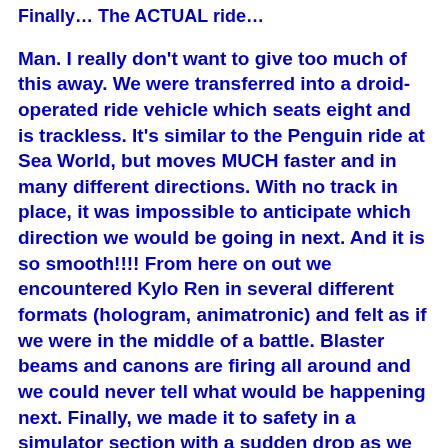Finally… The ACTUAL ride…
Man. I really don't want to give too much of this away. We were transferred into a droid-operated ride vehicle which seats eight and is trackless. It's similar to the Penguin ride at Sea World, but moves MUCH faster and in many different directions. With no track in place, it was impossible to anticipate which direction we would be going in next. And it is so smooth!!!! From here on out we encountered Kylo Ren in several different formats (hologram, animatronic) and felt as if we were in the middle of a battle. Blaster beams and canons are firing all around and we could never tell what would be happening next. Finally, we made it to safety in a simulator section with a sudden drop as we entered into space. (This is a free fall, similar to Tower of Terror, less intense.) Then we surprisingly ended